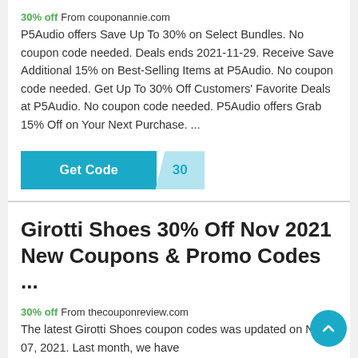30% off From couponannie.com P5Audio offers Save Up To 30% on Select Bundles. No coupon code needed. Deals ends 2021-11-29. Receive Save Additional 15% on Best-Selling Items at P5Audio. No coupon code needed. Get Up To 30% Off Customers' Favorite Deals at P5Audio. No coupon code needed. P5Audio offers Grab 15% Off on Your Next Purchase. ...
[Figure (other): A teal 'Get Code' button with a light blue panel showing the code '30']
Girotti Shoes 30% Off Nov 2021 New Coupons & Promo Codes ...
30% off From thecouponreview.com The latest Girotti Shoes coupon codes was updated on Nov 07, 2021. Last month, we have